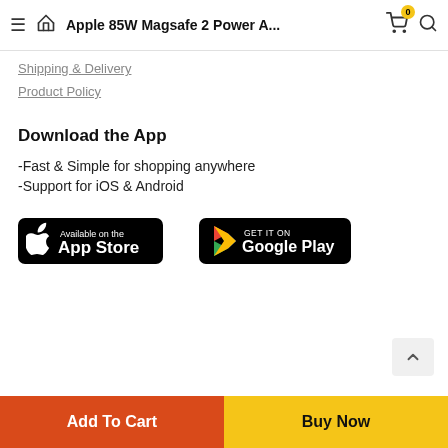Apple 85W Magsafe 2 Power A...
Shipping & Delivery
Product Policy
Download the App
-Fast & Simple for shopping anywhere
-Support for iOS & Android
[Figure (logo): Apple App Store badge — black rounded rectangle with Apple logo and text 'Available on the App Store']
[Figure (logo): Google Play badge — black rounded rectangle with Google Play triangle logo and text 'GET IT ON Google Play']
Add To Cart
Buy Now